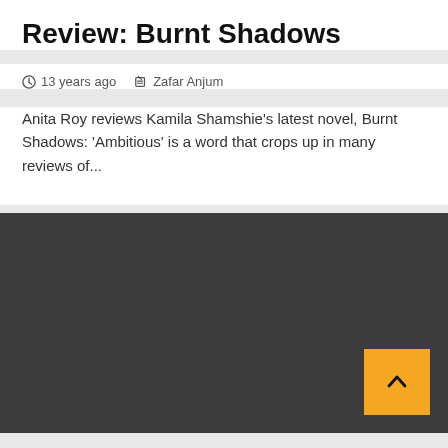Review: Burnt Shadows
13 years ago   Zafar Anjum
Anita Roy reviews Kamila Shamshie's latest novel, Burnt Shadows: ‘Ambitious’ is a word that crops up in many reviews of...
[Figure (other): Dark grey website footer/navigation section with a yellow back-to-top arrow button in the bottom right corner]